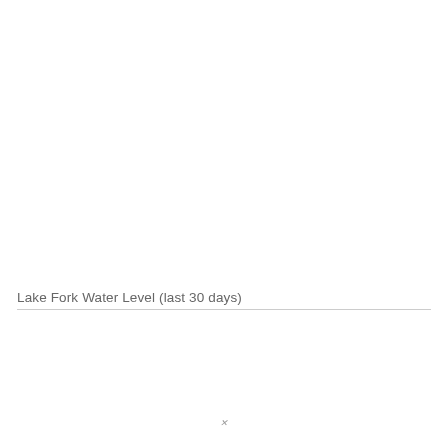Lake Fork Water Level (last 30 days)
[Figure (continuous-plot): Partially visible chart area for Lake Fork Water Level over the last 30 days. The chart content is mostly cut off; only the bottom portion with an x-axis marker is visible.]